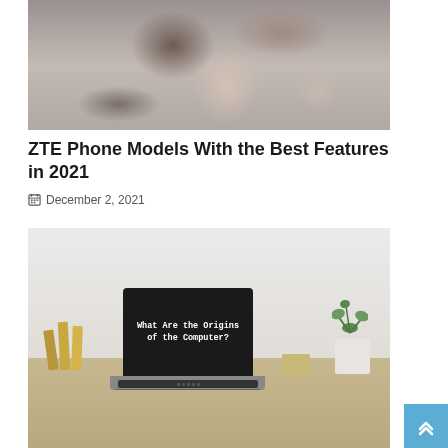[Figure (photo): Blurry photo of people holding smartphones, hands visible]
ZTE Phone Models With the Best Features in 2021
📅 December 2, 2021
[Figure (photo): Photo of a laptop on a wooden desk displaying text 'What Are the Origins of the Computer?' with decorative books on left and a plant on right]